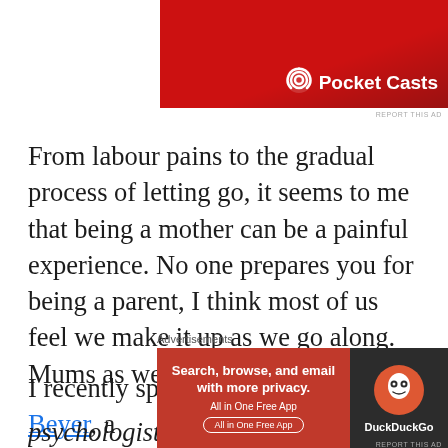[Figure (other): Pocket Casts advertisement banner with red background and white logo/text]
REPORT THIS AD
From labour pains to the gradual process of letting go, it seems to me that being a mother can be a painful experience. No one prepares you for being a parent, I think most of us feel we make it up as we go along. Mums as well as Dads.
I recently spoke with Megan De Beyer, a psychologist who runs the 'Strong Mothers, Stron…
Advertisements
[Figure (other): DuckDuckGo advertisement: Search, browse, and email with more privacy. All in One Free App]